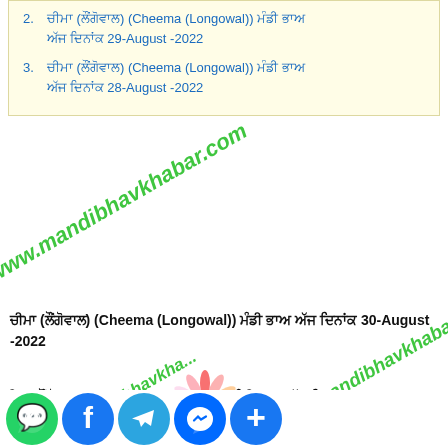2. ਚੀਮਾ (ਲੌਂਗੋਵਾਲ) (Cheema (Longowal)) ਮੰਡੀ ਭਾਅ ਅੱਜ ਦਿਨਾਂਕ 29-August -2022
3. ਚੀਮਾ (ਲੌਂਗੋਵਾਲ) (Cheema (Longowal)) ਮੰਡੀ ਭਾਅ ਅੱਜ ਦਿਨਾਂਕ 28-August -2022
ਚੀਮਾ (ਲੌਂਗੋਵਾਲ) (Cheema (Longowal)) ਮੰਡੀ ਭਾਅ ਅੱਜ ਦਿਨਾਂਕ 30-August -2022
ਚੀਮਾ (ਲੌਂਗੋਵਾਲ) (Cheema (Longowal)) ਮੰਡੀ ਭਾਅ ਅੱਜ ਦਿਨਾਂਕ 29-August -2022